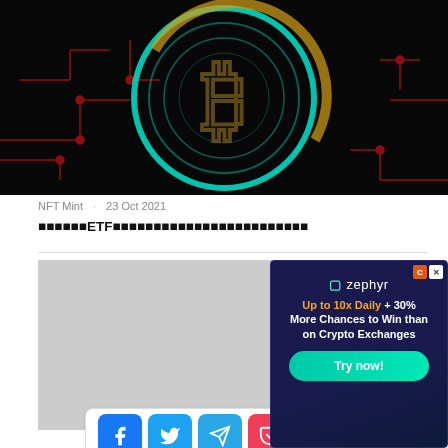[Figure (photo): Bitcoin cryptocurrency coin with glowing teal and gold circuit board background, dark technology theme]
NFT Mint   23 Oct 2021
比特币ETF获批，加密货币市场迎来重大利好消息
[Figure (screenshot): Zephyr advertisement overlay: Up to 10x Daily + 30% More Chances to Win than on Crypto Exchanges. Try now! button. Gray content placeholder below article header.]
[Figure (infographic): Social sharing bar with icons: Facebook, Twitter, Telegram, Pocket, LinkedIn, WhatsApp]